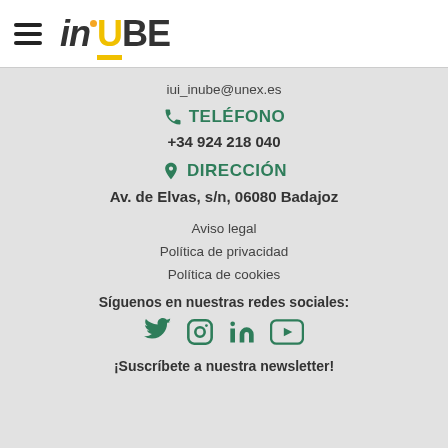[Figure (logo): INUBE logo with hamburger menu icon]
iui_inube@unex.es
TELÉFONO
+34 924 218 040
DIRECCIÓN
Av. de Elvas, s/n, 06080 Badajoz
Aviso legal
Política de privacidad
Política de cookies
Síguenos en nuestras redes sociales:
[Figure (illustration): Social media icons: Twitter, Instagram, LinkedIn, YouTube]
¡Suscríbete a nuestra newsletter!